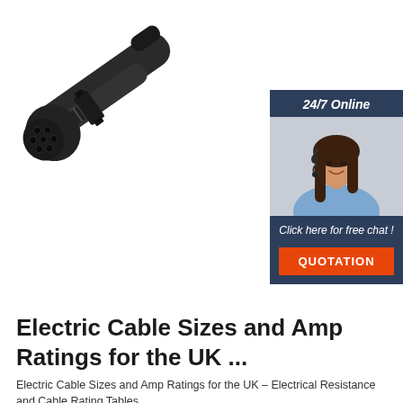[Figure (photo): Black multi-pin electrical cable connector plug, angled diagonally from lower-left to upper-right, on white background. Cylindrical connector body with 7-pin socket end visible.]
[Figure (infographic): Chat widget showing '24/7 Online' header in dark blue, photo of smiling woman wearing a headset, 'Click here for free chat!' text, and orange 'QUOTATION' button.]
Electric Cable Sizes and Amp Ratings for the UK ...
Electric Cable Sizes and Amp Ratings for the UK – Electrical Resistance and Cable Rating Tables.